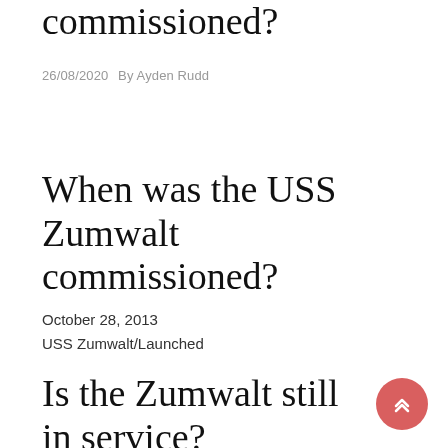commissioned?
26/08/2020   By Ayden Rudd
When was the USS Zumwalt commissioned?
October 28, 2013
USS Zumwalt/Launched
Is the Zumwalt still in service?